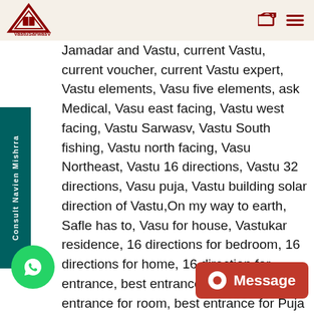VastuSarwasV
Jamadar and Vastu, current Vastu, current voucher, current Vastu expert, Vastu elements, Vasu five elements, ask Medical, Vasu east facing, Vastu west facing, Vastu Sarwasv, Vastu South fishing, Vastu north facing, Vasu Northeast, Vastu 16 directions, Vastu 32 directions, Vasu puja, Vastu building solar direction of Vastu,On my way to earth, Safle has to, Vasu for house, Vastukar residence, 16 directions for bedroom, 16 directions for home, 16 direction for entrance, best entrance for house, best entrance for room, best entrance for Puja Agarwal and Vastu for Puja, Vasu for Fin service, Vasu jiapat, Vastukar, Vasu Guy, Vastu Guruji stukar, Vasu gold, Vasu gu Guruji Vaastuvats too, Vastu and E32,